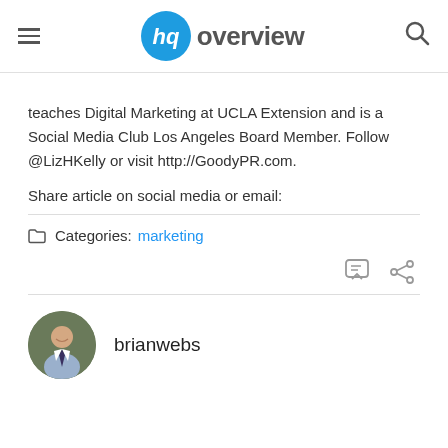hq overview
teaches Digital Marketing at UCLA Extension and is a Social Media Club Los Angeles Board Member. Follow @LizHKelly or visit http://GoodyPR.com.
Share article on social media or email:
Categories: marketing
brianwebs